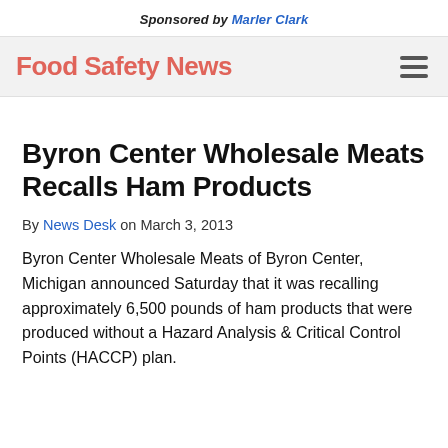Sponsored by Marler Clark
Food Safety News
Byron Center Wholesale Meats Recalls Ham Products
By News Desk on March 3, 2013
Byron Center Wholesale Meats of Byron Center, Michigan announced Saturday that it was recalling approximately 6,500 pounds of ham products that were produced without a Hazard Analysis & Critical Control Points (HACCP) plan.